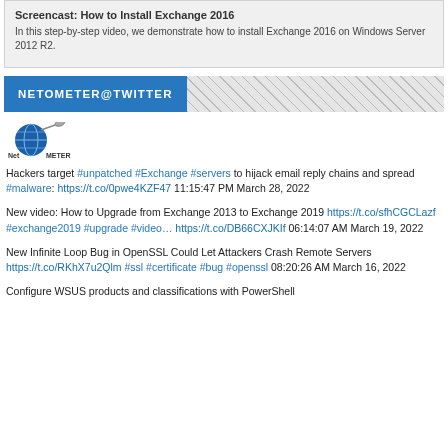Screencast: How to Install Exchange 2016
In this step-by-step video, we demonstrate how to install Exchange 2016 on Windows Server 2012 R2.
NETOMETER@TWITTER
[Figure (logo): NetMeter logo with globe and satellite dish icon]
Hackers target #unpatched #Exchange #servers to hijack email reply chains and spread #malware: https://t.co/0pwe4KZF47 11:15:47 PM March 28, 2022
New video: How to Upgrade from Exchange 2013 to Exchange 2019 https://t.co/sfhCGCLazf #exchange2019 #upgrade #video… https://t.co/DB66CXJKIf 06:14:07 AM March 19, 2022
New Infinite Loop Bug in OpenSSL Could Let Attackers Crash Remote Servers https://t.co/RKhX7u2Qlm #ssl #certificate #bug #openssl 08:20:26 AM March 16, 2022
Configure WSUS products and classifications with PowerShell